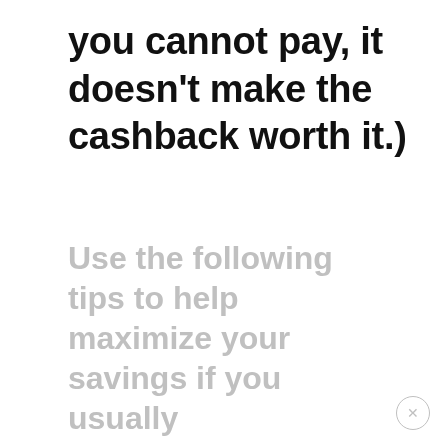you cannot pay, it doesn't make the cashback worth it.)
Use the following tips to help maximize your savings if you usually